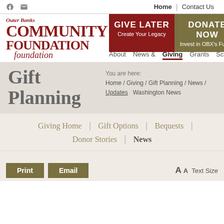Home | Contact Us
GIVE LATER
Create Your Legacy
DONATE NOW
Invest in OBX's Future
[Figure (logo): Outer Banks Community Foundation logo in dark red/maroon script and serif text]
About   News &   Giving   Grants   Schol
Gift Planning
You are here:  Home / Giving / Gift Planning / News / Updates
Washington News
Giving Home  |  Gift Options  |  Bequests  |
Donor Stories  |  News
Print   Email   AA Text Size